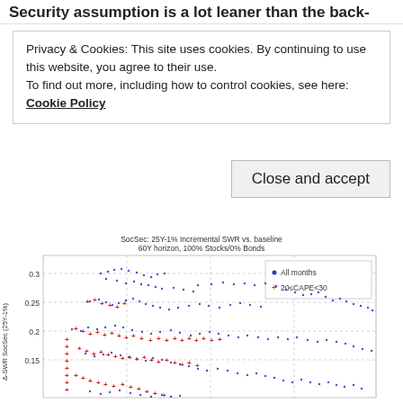Security assumption is a lot leaner than the back-
Privacy & Cookies: This site uses cookies. By continuing to use this website, you agree to their use.
To find out more, including how to control cookies, see here: Cookie Policy
Close and accept
[Figure (continuous-plot): Scatter plot with blue dots (All months) and red dots (20<=CAPE<30) showing delta-SWR SocSec (25Y-1%) on y-axis ranging approximately 0.15 to 0.3, with x-axis unlabeled. Legend shows blue dot = All months, red plus = 20<=CAPE<30.]